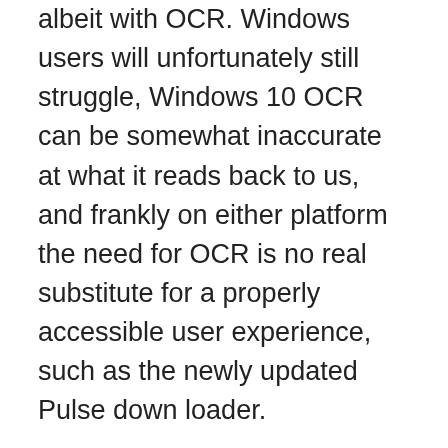albeit with OCR. Windows users will unfortunately still struggle, Windows 10 OCR can be somewhat inaccurate at what it reads back to us, and frankly on either platform the need for OCR is no real substitute for a properly accessible user experience, such as the newly updated Pulse down loader.
I have however been told that gradual updates will improve things eventually, and should you get stuck their support team are certainly in my experience pretty awesome at helping you out!
The NKSE files which get the library...